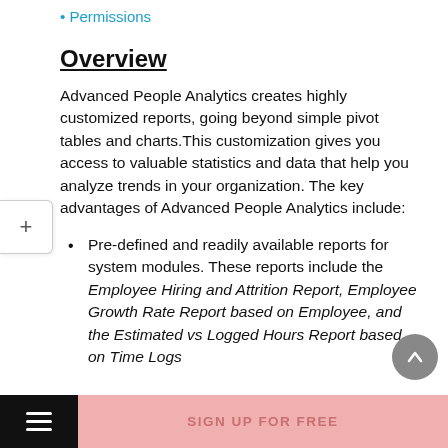Permissions
Overview
Advanced People Analytics creates highly customized reports, going beyond simple pivot tables and charts. This customization gives you access to valuable statistics and data that help you analyze trends in your organization. The key advantages of Advanced People Analytics include:
Pre-defined and readily available reports for system modules. These reports include the Employee Hiring and Attrition Report, Employee Growth Rate Report based on Employee, and the Estimated vs Logged Hours Report based on Time Logs